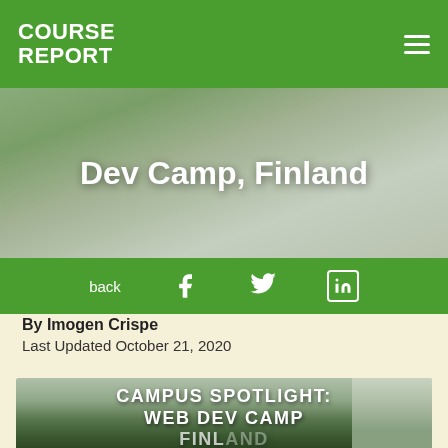COURSE REPORT
Dev Camp, Finland
back
By Imogen Crispe
Last Updated October 21, 2020
[Figure (photo): Campus Spotlight: Web Dev Camp Finland promotional image with text overlay on a scenic lake background]